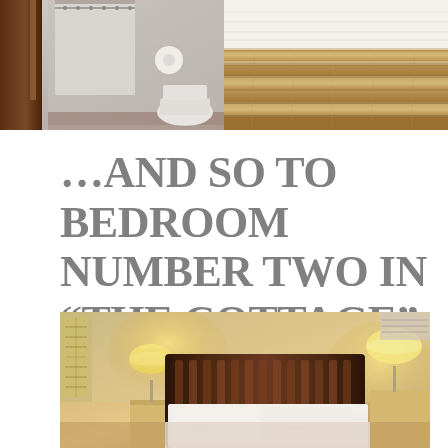[Figure (photo): Two side-by-side photos at top: left shows a bathroom interior with toilet and shower, right shows wooden bed slats with white bedding]
…And so to bedroom number two in “The Cottage”
[Figure (photo): Bedroom interior with dark wood headboard, white pillows, bedside lamps, and warm lighting]